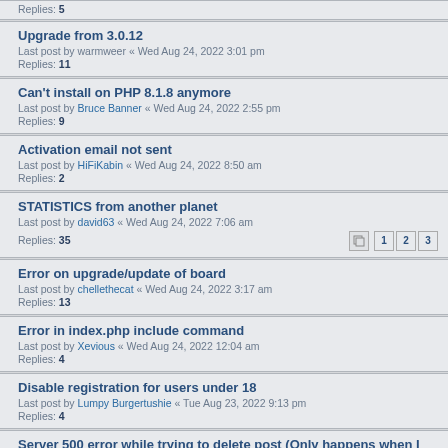Replies: 5
Upgrade from 3.0.12
Last post by warmweer « Wed Aug 24, 2022 3:01 pm
Replies: 11
Can't install on PHP 8.1.8 anymore
Last post by Bruce Banner « Wed Aug 24, 2022 2:55 pm
Replies: 9
Activation email not sent
Last post by HiFiKabin « Wed Aug 24, 2022 8:50 am
Replies: 2
STATISTICS from another planet
Last post by david63 « Wed Aug 24, 2022 7:06 am
Replies: 35
Pages: 1 2 3
Error on upgrade/update of board
Last post by chellethecat « Wed Aug 24, 2022 3:17 am
Replies: 13
Error in index.php include command
Last post by Xevious « Wed Aug 24, 2022 12:04 am
Replies: 4
Disable registration for users under 18
Last post by Lumpy Burgertushie « Tue Aug 23, 2022 9:13 pm
Replies: 4
Server 500 error while trying to delete post (Only happens when I switch to Custom Style - Mobbern3.3)
Last post by Natgeo20016 « Tue Aug 23, 2022 2:17 pm
Replies: 4
Since update to 3.3.8, impossible to see deleted message